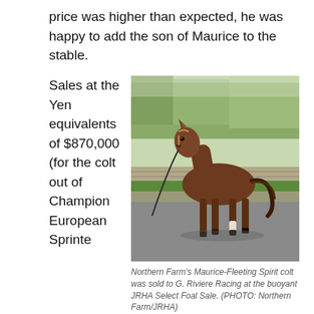price was higher than expected, he was happy to add the son of Maurice to the stable.
Sales at the Yen equivalents of $870,000 (for the colt out of Champion European Sprinte
[Figure (photo): A young bay horse foal standing on a paved surface with green grass and stone wall in the background. The foal has a white marking on its lower right hind leg.]
Northern Farm's Maurice-Fleeting Spirit colt was sold to G. Riviere Racing at the buoyant JRHA Select Foal Sale. (PHOTO: Northern Farm/JRHA)